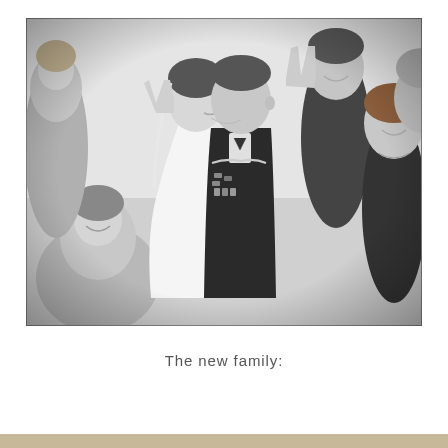[Figure (photo): Black and white wedding photograph showing a bride and groom kissing, surrounded by smiling guests. The groom is in a military dress uniform with medals and pilot wings. Guests around them are joyful, some making hand gestures.]
The new family: